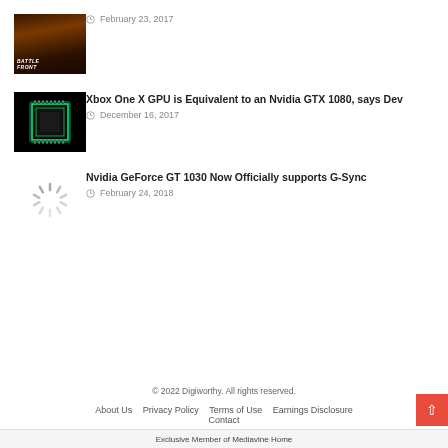[Figure (photo): Battlefront game thumbnail - dark orange/red atmospheric game scene]
February 23, 2017
[Figure (photo): Xbox One X GPU chip glowing green on black background]
Xbox One X GPU is Equivalent to an Nvidia GTX 1080, says Dev
December 16, 2017
[Figure (other): Loading spinner icon]
Nvidia GeForce GT 1030 Now Officially supports G-Sync
February 24, 2018
© 2022 Digiworthy. All rights reserved.
About Us   Privacy Policy   Terms of Use   Earnings Disclosure   Contact
Exclusive Member of Mediavine Home